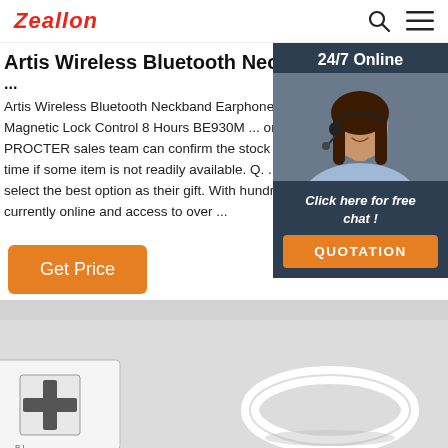Zeallon
Artis Wireless Bluetooth Neckband Earphone With Ear Fins ...
Artis Wireless Bluetooth Neckband Earphone With Magnetic Lock Control 8 Hours BE930M ... on order PROCTER sales team can confirm the stock availal time if some item is not readily available. Q. ... co select the best option as their gift. With hundreds currently online and access to over ...
[Figure (photo): Customer service representative woman with headset, 24/7 Online chat widget with QUOTATION button]
[Figure (photo): Product image showing packaging and white wristband/bracelet on grey background]